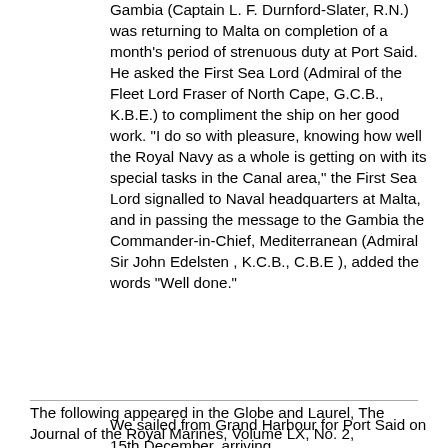Gambia (Captain L. F. Durnford-Slater, R.N.) was returning to Malta on completion of a month's period of strenuous duty at Port Said. He asked the First Sea Lord (Admiral of the Fleet Lord Fraser of North Cape, G.C.B., K.B.E.) to compliment the ship on her good work. "I do so with pleasure, knowing how well the Royal Navy as a whole is getting on with its special tasks in the Canal area," the First Sea Lord signalled to Naval headquarters at Malta, and in passing the message to the Gambia the Commander-in-Chief, Mediterranean (Admiral Sir John Edelsten , K.C.B., C.B.E ), added the words "Well done."
The following appeared in the Globe and Laurel, The Journal of the Royal Marines, Volume LX, No. 2, March/April 1952
We sailed from Grand Harbour for Port Said on 15th December, arriving